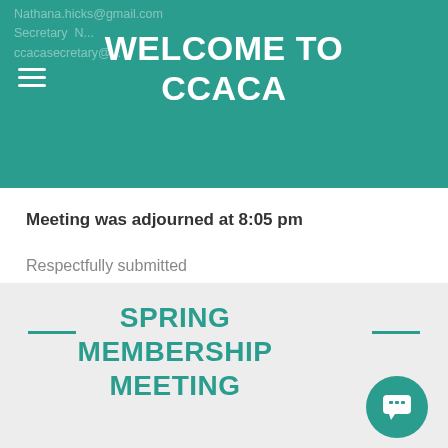WELCOME TO CCACA
Nathana.hicks@gmail.com
Secretary N...
ccacasecretary@...
Meeting was adjourned at 8:05 pm
Respectfully submitted
Nancy Szczepanski, HOA Secretary
05/01/2021
SPRING MEMBERSHIP MEETING